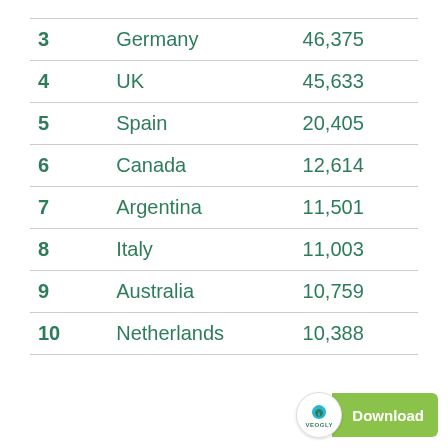| Rank | Country | Value |
| --- | --- | --- |
| 3 | Germany | 46,375 |
| 4 | UK | 45,633 |
| 5 | Spain | 20,405 |
| 6 | Canada | 12,614 |
| 7 | Argentina | 11,501 |
| 8 | Italy | 11,003 |
| 9 | Australia | 10,759 |
| 10 | Netherlands | 10,388 |